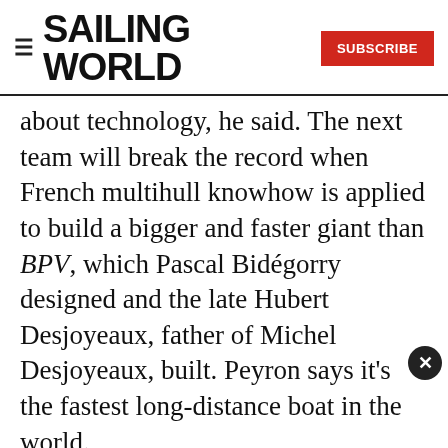SAILING WORLD | SUBSCRIBE
about technology, he said. The next team will break the record when French multihull knowhow is applied to build a bigger and faster giant than BPV, which Pascal Bidégorry designed and the late Hubert Desjoyeaux, father of Michel Desjoyeaux, built. Peyron says it's the fastest long-distance boat in the world.
What is really exiting in multihull long-distance sailing is what is yet to come, Peyron said, as more recent advances like hydrofoil boats and rigid wings find their